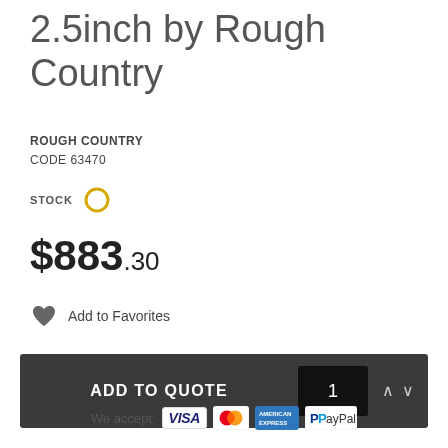2.5inch by Rough Country
ROUGH COUNTRY
CODE 63470
STOCK
$883.30
Add to Favorites
ADD TO QUOTE  1
We accept: